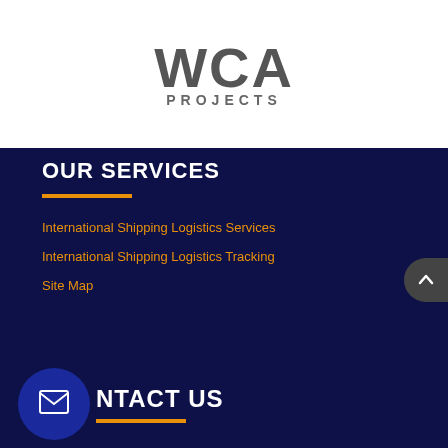[Figure (logo): WCA Projects logo with large bold WCA text and PROJECTS subtitle in gray]
OUR SERVICES
International Shipping Logistics Services
International Shipping Logistics Tracking
Site Map
CONTACT US